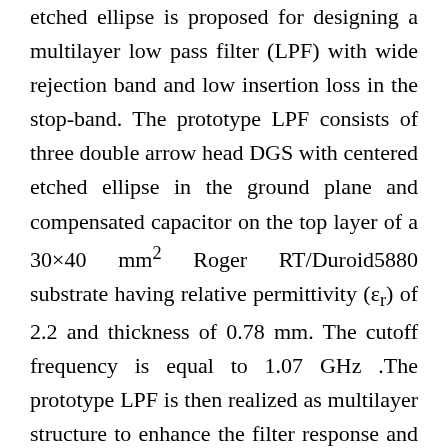etched ellipse is proposed for designing a multilayer low pass filter (LPF) with wide rejection band and low insertion loss in the stop-band. The prototype LPF consists of three double arrow head DGS with centered etched ellipse in the ground plane and compensated capacitor on the top layer of a 30×40 mm² Roger RT/Duroid5880 substrate having relative permittivity (εr) of 2.2 and thickness of 0.78 mm. The cutoff frequency is equal to 1.07 GHz .The prototype LPF is then realized as multilayer structure to enhance the filter response and reduce its size. The size reduction of the proposed multi-layer LPF is about 26% more than the conventional one. The proposed filter has been fabricated and measured. Good